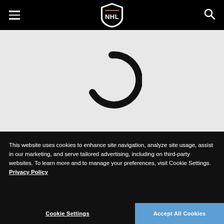[Figure (logo): NHL shield logo in white on black navigation bar]
[Figure (other): Loading spinner animation — large circular arc on grey background]
This website uses cookies to enhance site navigation, analyze site usage, assist in our marketing, and serve tailored advertising, including on third-party websites. To learn more and to manage your preferences, visit Cookie Settings. Privacy Policy
Cookie Settings
Accept All Cookies